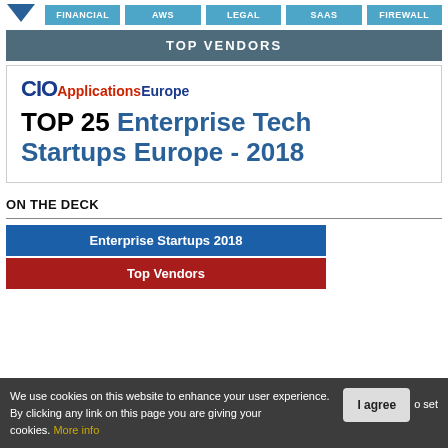FINANCIAL | AWS | LEGAL | SAAS | FIREWALL
TOP VENDORS
[Figure (logo): CIO Applications Europe - TOP 25 Enterprise Tech Startups Europe - 2018 banner image]
ON THE DECK
Enterprise Startups 2018
Top Vendors
We use cookies on this website to enhance your user experience. By clicking any link on this page you are giving your consent to set cookies. More info